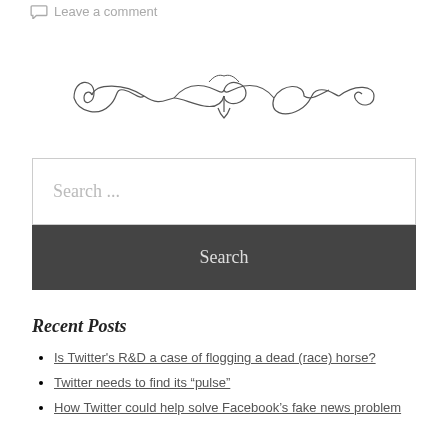Leave a comment
[Figure (illustration): Decorative ornamental divider with scroll and floral motifs]
Search ...
Search
Recent Posts
Is Twitter's R&D a case of flogging a dead (race) horse?
Twitter needs to find its “pulse”
How Twitter could help solve Facebook’s fake news problem